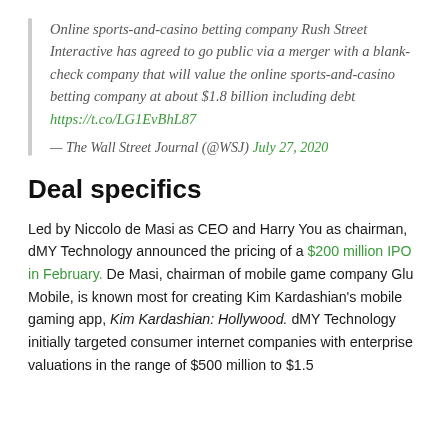Online sports-and-casino betting company Rush Street Interactive has agreed to go public via a merger with a blank-check company that will value the online sports-and-casino betting company at about $1.8 billion including debt https://t.co/LG1EvBhL87
— The Wall Street Journal (@WSJ) July 27, 2020
Deal specifics
Led by Niccolo de Masi as CEO and Harry You as chairman, dMY Technology announced the pricing of a $200 million IPO in February. De Masi, chairman of mobile game company Glu Mobile, is known most for creating Kim Kardashian's mobile gaming app, Kim Kardashian: Hollywood. dMY Technology initially targeted consumer internet companies with enterprise valuations in the range of $500 million to $1.5